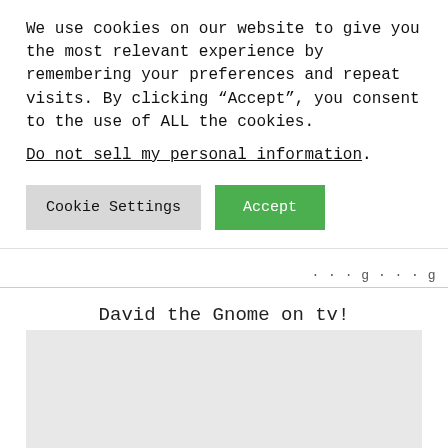We use cookies on our website to give you the most relevant experience by remembering your preferences and repeat visits. By clicking “Accept”, you consent to the use of ALL the cookies.
Do not sell my personal information.
Cookie Settings   Accept
David the Gnome on tv!